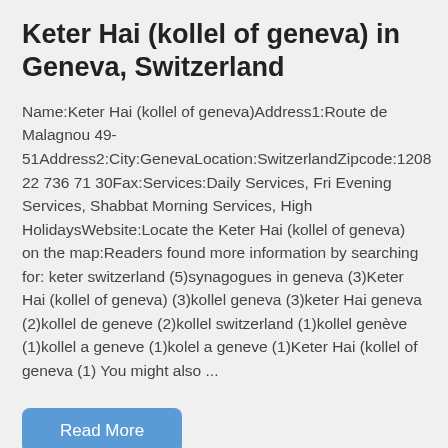Keter Hai (kollel of geneva) in Geneva, Switzerland
Name:Keter Hai (kollel of geneva)Address1:Route de Malagnou 49-51Address2:City:GenevaLocation:SwitzerlandZipcode:1208 22 736 71 30Fax:Services:Daily Services, Fri Evening Services, Shabbat Morning Services, High HolidaysWebsite:Locate the Keter Hai (kollel of geneva) on the map:Readers found more information by searching for: keter switzerland (5)synagogues in geneva (3)Keter Hai (kollel of geneva) (3)kollel geneva (3)keter Hai geneva (2)kollel de geneve (2)kollel switzerland (1)kollel genève (1)kollel a geneve (1)kolel a geneve (1)Keter Hai (kollel of geneva (1) You might also ...
Read More